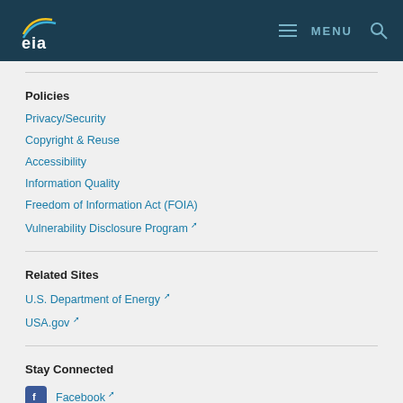EIA — MENU
Policies
Privacy/Security
Copyright & Reuse
Accessibility
Information Quality
Freedom of Information Act (FOIA)
Vulnerability Disclosure Program
Related Sites
U.S. Department of Energy
USA.gov
Stay Connected
Facebook
Twitter
Youtube
Flickr